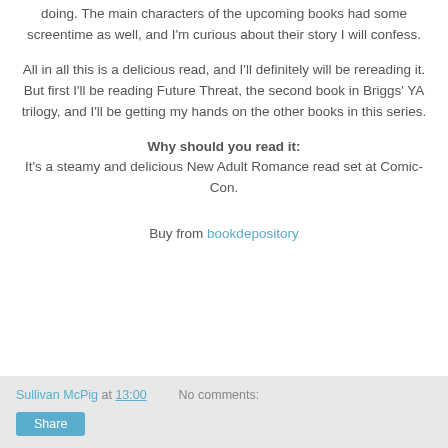doing. The main characters of the upcoming books had some screentime as well, and I'm curious about their story I will confess.
All in all this is a delicious read, and I'll definitely will be rereading it. But first I'll be reading Future Threat, the second book in Briggs' YA trilogy, and I'll be getting my hands on the other books in this series.
Why should you read it:
It's a steamy and delicious New Adult Romance read set at Comic-Con.
Buy from bookdepository
Sullivan McPig at 13:00   No comments:   Share